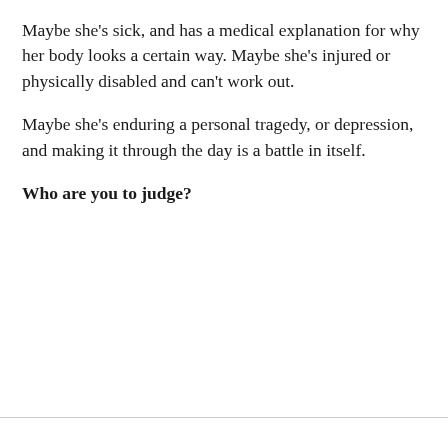Maybe she's sick, and has a medical explanation for why her body looks a certain way. Maybe she's injured or physically disabled and can't work out.
Maybe she's enduring a personal tragedy, or depression, and making it through the day is a battle in itself.
Who are you to judge?